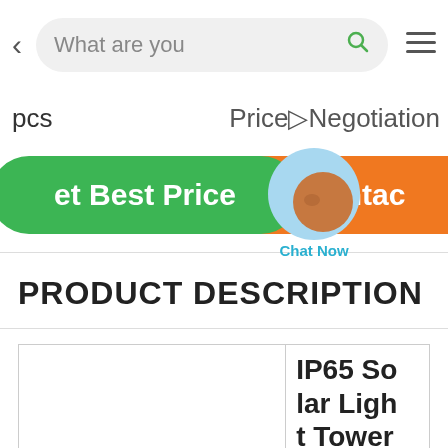[Figure (screenshot): Mobile e-commerce app UI showing navigation bar with back button, search box reading 'What are you', search icon, and hamburger menu]
pcs
Price▷Negotiation
et Best Price
✉ Contac
Chat Now
PRODUCT DESCRIPTION
|  | IP65 Solar Light Tower |